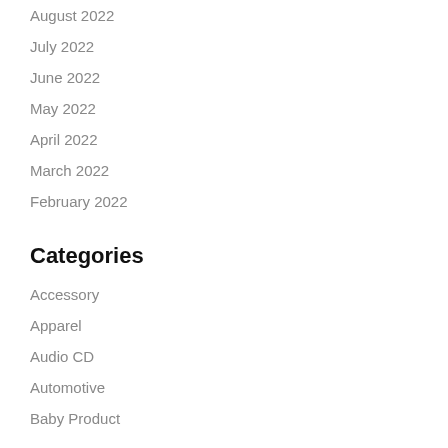August 2022
July 2022
June 2022
May 2022
April 2022
March 2022
February 2022
Categories
Accessory
Apparel
Audio CD
Automotive
Baby Product